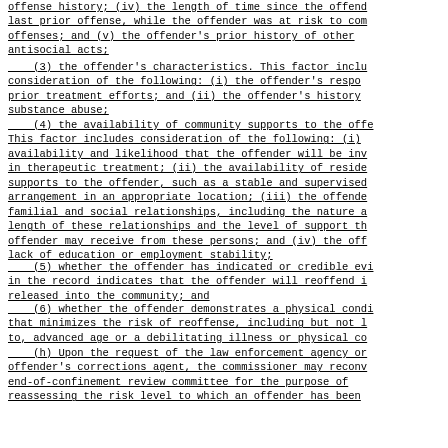offense history; (iv) the length of time since the offend last prior offense, while the offender was at risk to com offenses; and (v) the offender's prior history of other antisocial acts;
(3) the offender's characteristics. This factor inclu consideration of the following: (i) the offender's respo prior treatment efforts; and (ii) the offender's history substance abuse;
(4) the availability of community supports to the offe This factor includes consideration of the following: (i) availability and likelihood that the offender will be inv in therapeutic treatment; (ii) the availability of reside supports to the offender, such as a stable and supervised arrangement in an appropriate location; (iii) the offende familial and social relationships, including the nature a length of these relationships and the level of support th offender may receive from these persons; and (iv) the off lack of education or employment stability;
(5) whether the offender has indicated or credible evi in the record indicates that the offender will reoffend i released into the community; and
(6) whether the offender demonstrates a physical condi that minimizes the risk of reoffense, including but not l to, advanced age or a debilitating illness or physical co
(h) Upon the request of the law enforcement agency or offender's corrections agent, the commissioner may reconv end-of-confinement review committee for the purpose of reassessing the risk level to which an offender has been